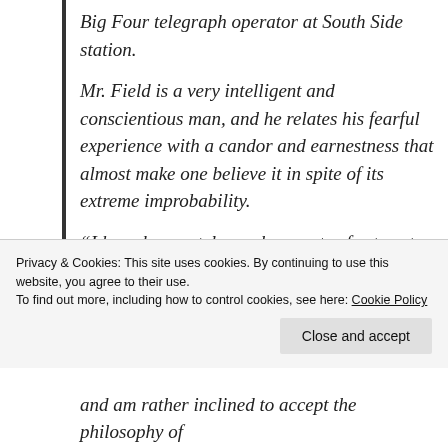Big Four telegraph operator at South Side station.
Mr. Field is a very intelligent and conscientious man, and he relates his fearful experience with a candor and earnestness that almost make one believe it in spite of its extreme improbability.
“I have been a telegraph operator for twenty-two years. I have told my story to at least a hundred people, and I have never met one yet who would believe that it was an actual fact. I know that it will be a severe test on your credulity, but my experience
Privacy & Cookies: This site uses cookies. By continuing to use this website, you agree to their use.
To find out more, including how to control cookies, see here: Cookie Policy
and am rather inclined to accept the philosophy of